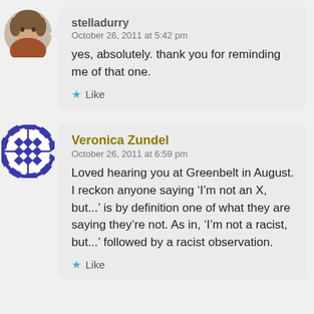[Figure (photo): Circular avatar photo of stelladurry]
stelladurry
October 26, 2011 at 5:42 pm
yes, absolutely. thank you for reminding me of that one.
Like
[Figure (illustration): Circular avatar icon for Veronica Zundel with blue geometric pattern]
Veronica Zundel
October 26, 2011 at 6:59 pm
Loved hearing you at Greenbelt in August. I reckon anyone saying ‘I’m not an X, but...’ is by definition one of what they are saying they’re not. As in, ‘I’m not a racist, but...’ followed by a racist observation.
Like